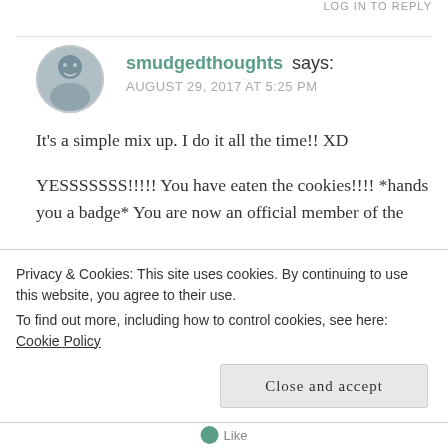LOG IN TO REPLY
smudgedthoughts says:
AUGUST 29, 2017 AT 5:25 PM
It's a simple mix up. I do it all the time!! XD

YESSSSSSS!!!!! You have eaten the cookies!!!! *hands you a badge* You are now an official member of the
Privacy & Cookies: This site uses cookies. By continuing to use this website, you agree to their use.
To find out more, including how to control cookies, see here: Cookie Policy
Close and accept
Like